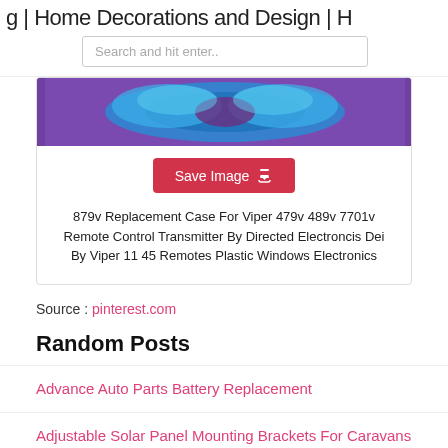g | Home Decorations and Design | H
Search and hit enter..
[Figure (photo): Close-up blue decorative butterfly or mask image with purple border]
Save Image
879v Replacement Case For Viper 479v 489v 7701v Remote Control Transmitter By Directed Electroncis Dei By Viper 11 45 Remotes Plastic Windows Electronics
Source : pinterest.com
Random Posts
Advance Auto Parts Battery Replacement
Adjustable Solar Panel Mounting Brackets For Caravans